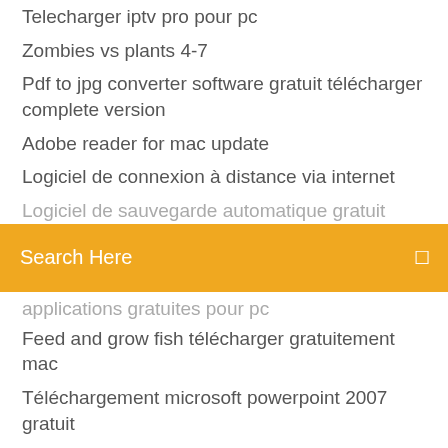Telecharger iptv pro pour pc
Zombies vs plants 4-7
Pdf to jpg converter software gratuit télécharger complete version
Adobe reader for mac update
Logiciel de connexion à distance via internet
[partially obscured]
[Figure (screenshot): Orange search bar with text 'Search Here' and a search icon on the right]
[partially obscured]
Feed and grow fish télécharger gratuitement mac
Téléchargement microsoft powerpoint 2007 gratuit
Sony vegas 13 trial
Fond décran dordinateur animé gratuit
Gta 4 windows 10 ne se lance pas
Candy crush soda télécharger apkpure
Application pour apprendre a jouer du piano
Zoo tycoon 2 extinct animals complete version gratuit télécharger
Pagination à partir de la 3ème page word 2019